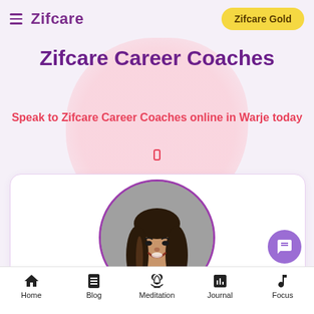Zifcare | Zifcare Gold
Zifcare Career Coaches
Speak to Zifcare Career Coaches online in Warje today
[Figure (photo): Profile photo of a woman with long dark hair, smiling, in a circular frame with purple border, on a gray background, inside a white card]
Home | Blog | Meditation | Journal | Focus